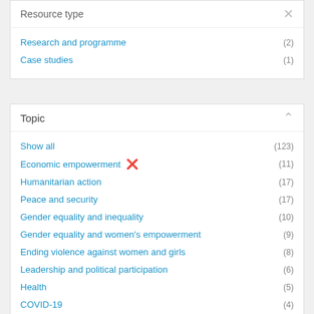Resource type
Research and programme (2)
Case studies (1)
Topic
Show all (123)
Economic empowerment ✕ (11)
Humanitarian action (17)
Peace and security (17)
Gender equality and inequality (10)
Gender equality and women's empowerment (9)
Ending violence against women and girls (8)
Leadership and political participation (6)
Health (5)
COVID-19 (4)